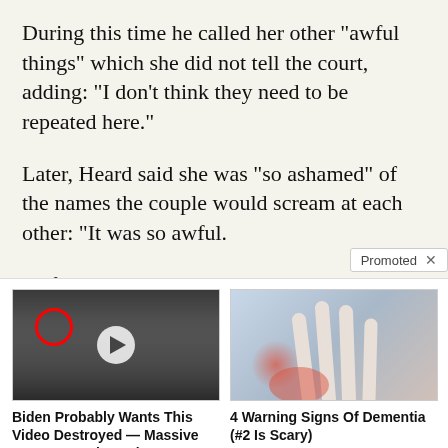During this time he called her other “awful things” which she did not tell the court, adding: “I don’t think they need to be repeated here.”
Later, Heard said she was “so ashamed” of the names the couple would scream at each other: “It was so awful.
“It felt like nothing I could do… wou…m
[Figure (screenshot): Promoted ad section with two ad items: 1) Biden political video ad with CIA group photo thumbnail showing play button and red circle highlight, titled 'Biden Probably Wants This Video Destroyed — Massive Currency Upheaval Has Started' with 203,988 engagements. 2) Health ad with hand-on-chest image titled '4 Warning Signs Of Dementia (#2 Is Scary)' with 21,363 engagements. A 'Promoted x' label appears at the top right of the ad section.]